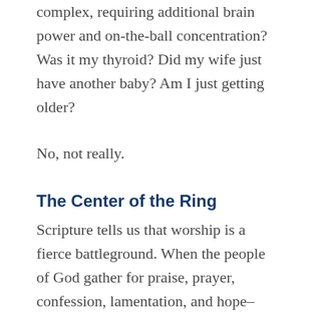complex, requiring additional brain power and on-the-ball concentration? Was it my thyroid? Did my wife just have another baby? Am I just getting older?
No, not really.
The Center of the Ring
Scripture tells us that worship is a fierce battleground. When the people of God gather for praise, prayer, confession, lamentation, and hope–when we gather around the gospel–God, in real time, sets up a heavenly outpost smack dab in the middle of the prince of darkness's territory. In